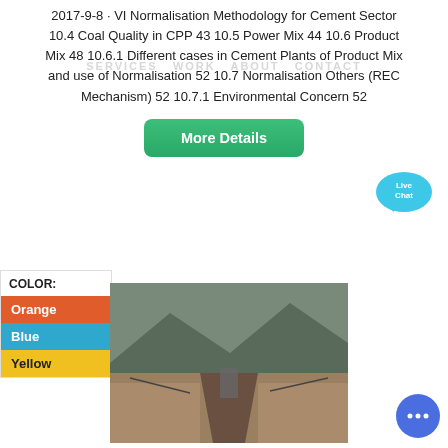2017-9-8 · VI Normalisation Methodology for Cement Sector 10.4 Coal Quality in CPP 43 10.5 Power Mix 44 10.6 Product Mix 48 10.6.1 Different cases in Cement Plants of Product Mix and use of Normalisation 52 10.7 Normalisation Others (REC Mechanism) 52 10.7.1 Environmental Concern 52
SERVICES  WORK  ABOUT  CONTACT
More Details
[Figure (screenshot): Live Chat widget bubble with cyan speech bubble and 'Live Chat' text, with an X close button]
COLOR:
Orange
Blue
Yellow
[Figure (photo): Aerial or overhead photo of a cement plant or mining/excavation area showing earthworks, machinery, and a central drainage or conveyor channel]
[Figure (other): Blue circular chat button with three dots]